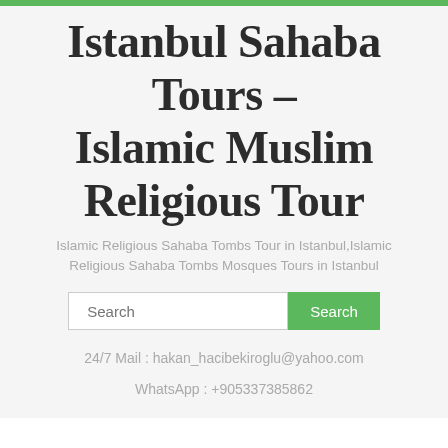Istanbul Sahaba Tours – Islamic Muslim Religious Tour
Islamic Religious Sahaba Tombs Tour in Istanbul,Islamic Religious Sahaba Tombs Mosques Tours in Istanbul
24/7 Mail : hakan_hacibekiroglu@yahoo.com
WhatsApp : +905337385862
≡  Menu